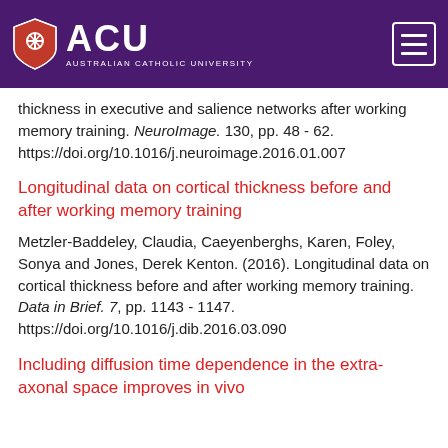[Figure (logo): ACU (Australian Catholic University) logo with shield icon on dark purple background with hamburger menu icon]
thickness in executive and salience networks after working memory training. NeuroImage. 130, pp. 48 - 62. https://doi.org/10.1016/j.neuroimage.2016.01.007
Longitudinal data on cortical thickness before and after working memory training
Metzler-Baddeley, Claudia, Caeyenberghs, Karen, Foley, Sonya and Jones, Derek Kenton. (2016). Longitudinal data on cortical thickness before and after working memory training. Data in Brief. 7, pp. 1143 - 1147. https://doi.org/10.1016/j.dib.2016.03.090
Including diffusion time dependence in the extra-axonal space improves in vivo